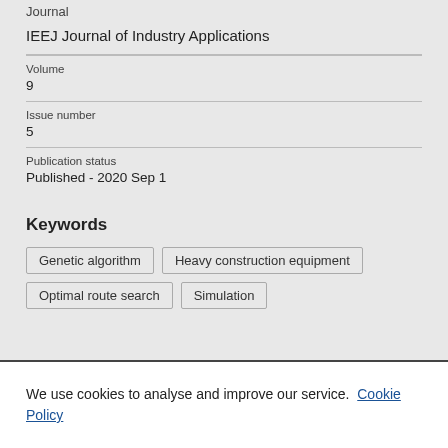Journal
IEEJ Journal of Industry Applications
Volume
9
Issue number
5
Publication status
Published - 2020 Sep 1
Keywords
Genetic algorithm
Heavy construction equipment
Optimal route search
Simulation
We use cookies to analyse and improve our service. Cookie Policy